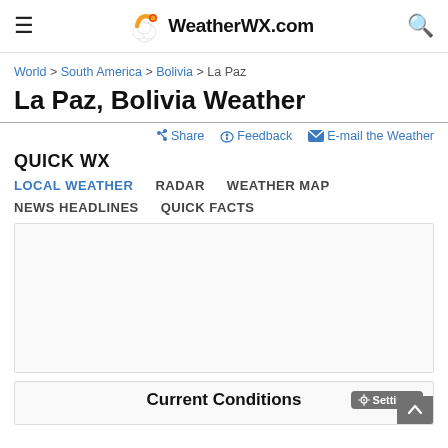WeatherWX.com
World > South America > Bolivia > La Paz
La Paz, Bolivia Weather
Share  Feedback  E-mail the Weather
QUICK WX
LOCAL WEATHER
RADAR
WEATHER MAP
NEWS HEADLINES
QUICK FACTS
[Figure (other): Advertisement placeholder box]
Current Conditions
Settings